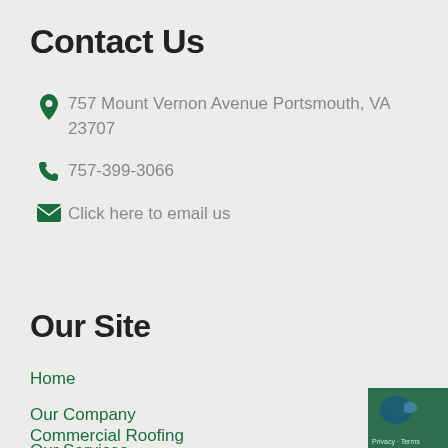Contact Us
757 Mount Vernon Avenue Portsmouth, VA 23707
757-399-3066
Click here to email us
Our Site
Home
Our Company
Our Services
Residential Roofing
Commercial Roofing